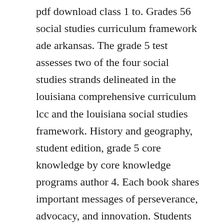pdf download class 1 to. Grades 56 social studies curriculum framework ade arkansas. The grade 5 test assesses two of the four social studies strands delineated in the louisiana comprehensive curriculum lcc and the louisiana social studies framework. History and geography, student edition, grade 5 core knowledge by core knowledge programs author 4. Each book shares important messages of perseverance, advocacy, and innovation. Students judge the significance of the relative location of a place. Books by reading level here you will find all